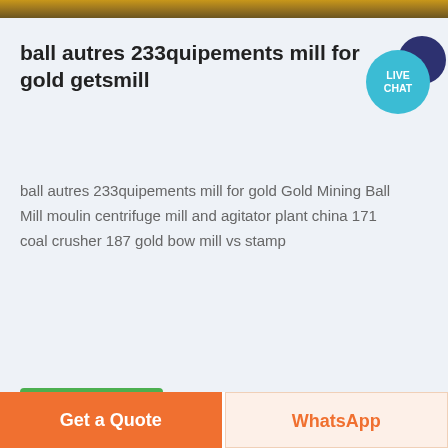[Figure (photo): Top strip of an image, likely outdoor/industrial scene with gold-brown tones]
ball autres 233quipements mill for gold getsmill
ball autres 233quipements mill for gold Gold Mining Ball Mill moulin centrifuge mill and agitator plant china 171 coal crusher 187 gold bow mill vs stamp
Voir plus
[Figure (photo): Industrial silo or tank structure photographed against a grey sky]
Get a Quote
WhatsApp